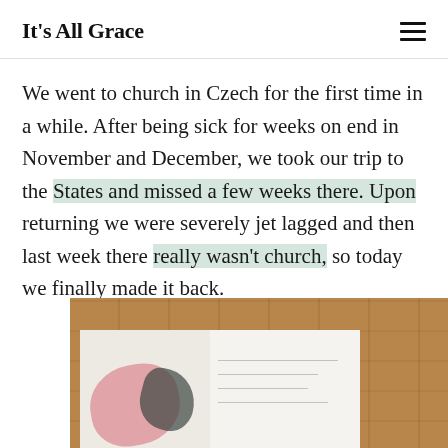It's All Grace
We went to church in Czech for the first time in a while. After being sick for weeks on end in November and December, we took our trip to the States and missed a few weeks there. Upon returning we were severely jet lagged and then last week there really wasn't church, so today we finally made it back.
[Figure (photo): Open sketchbook or art journal with pink and dark floral/leaf ink shapes on the left page and handwritten notes on the right page, placed on a warm wooden floor with visible planks and grain.]